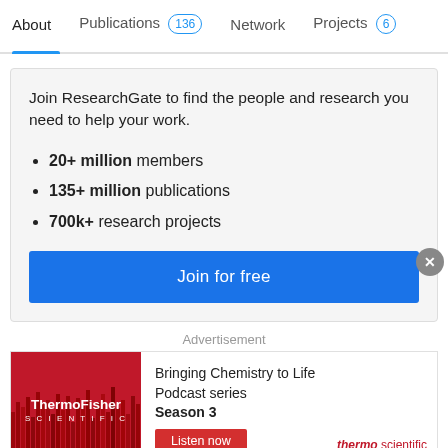About  Publications 136  Network  Projects 6
Join ResearchGate to find the people and research you need to help your work.
20+ million members
135+ million publications
700k+ research projects
Join for free
Advertisement
[Figure (other): ThermoFisher Scientific advertisement banner. Left side shows ThermoFisher Scientific logo on red background. Right side reads: Bringing Chemistry to Life Podcast series Season 3. Listen now button. Thermo scientific branding in bottom right.]